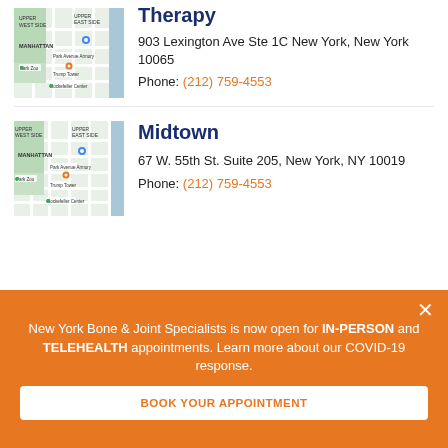[Figure (map): Google Maps screenshot showing Manhattan upper east side area]
Therapy
903 Lexington Ave Ste 1C New York, New York 10065
Phone: (212) 759-4553
[Figure (map): Google Maps screenshot showing Manhattan area]
Midtown
67 W. 55th St. Suite 205, New York, NY 10019
Phone: (212) 759-4553
New York Bone & Joint Specialists is now open for IN-PERSON and TELEHEALTH appointments. Learn more about our COVID-19 response.
BOOK YOUR APPOINTMENT